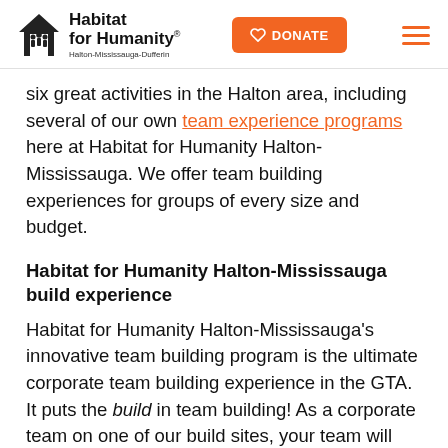Habitat for Humanity Halton-Mississauga-Dufferin | DONATE
six great activities in the Halton area, including several of our own team experience programs here at Habitat for Humanity Halton-Mississauga. We offer team building experiences for groups of every size and budget.
Habitat for Humanity Halton-Mississauga build experience
Habitat for Humanity Halton-Mississauga's innovative team building program is the ultimate corporate team building experience in the GTA. It puts the build in team building! As a corporate team on one of our build sites, your team will join our construction volunteers to build a home for a local family. Safety training is provided, and so is lunch and other hospitality services. We can